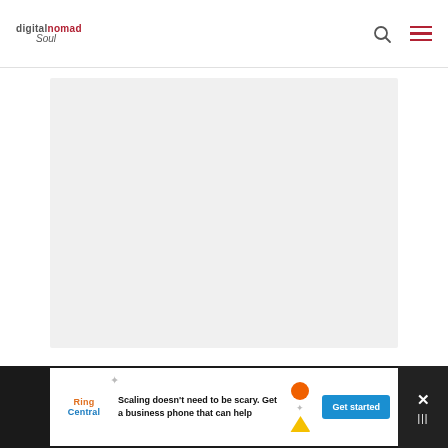digital nomad Soul
[Figure (photo): Large light gray placeholder image area for an article]
The pay is not bad either. You can earn
[Figure (infographic): RingCentral advertisement banner: 'Scaling doesn't need to be scary. Get a business phone that can help' with Get started button]